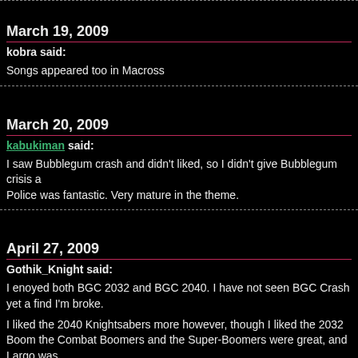March 19, 2009
kobra said:
Songs appeared too in Macross
March 20, 2009
kabukiman said:
I saw Bubblegum crash and didn't liked, so I didn't give Bubblegum crisis a Police was fantastic. Very mature in the theme.
April 27, 2009
Gothik_Knight said:
I enoyed both BGC 2032 and BGC 2040. I have not seen BGC Crash yet a find I'm broke.
I liked the 2040 Knightsabers more however, though I liked the 2032 Boom the Combat Boomers and the Super-Boomers were great, and Largo was
My favorote Knight Saber design will always be Sylia. Though I just loved